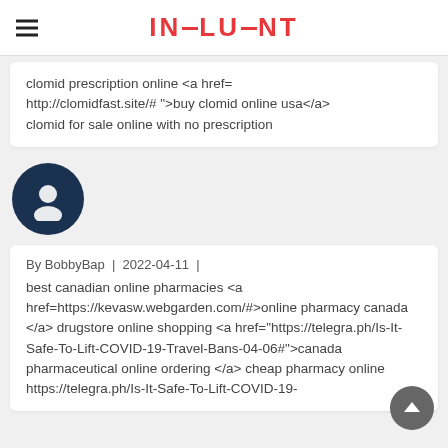INFLUENT
clomid prescription online <a href=http://clomidfast.site/# ">buy clomid online usa</a> clomid for sale online with no prescription
[Figure (illustration): Default user avatar icon — white silhouette on dark navy circular background]
By BobbyBap | 2022-04-11 |
best canadian online pharmacies <a href=https://kevasw.webgarden.com/#>online pharmacy canada </a> drugstore online shopping <a href="https://telegra.ph/Is-It-Safe-To-Lift-COVID-19-Travel-Bans-04-06#">canada pharmaceutical online ordering </a> cheap pharmacy online https://telegra.ph/Is-It-Safe-To-Lift-COVID-19-